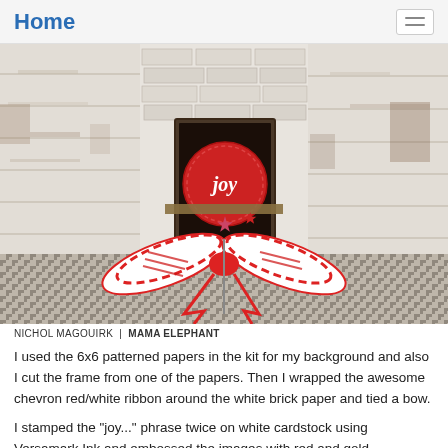Home
[Figure (photo): A crafted Christmas card scene featuring a framed 'joy' ornament with stars and a large red and white chevron ribbon bow, set against a white brick paper background with a houndstooth floor. Photo credited to Nichol Magouirk | Mama Elephant.]
NICHOL MAGOUIRK | MAMA ELEPHANT
I used the 6x6 patterned papers in the kit for my background and also I cut the frame from one of the papers. Then I wrapped the awesome chevron red/white ribbon around the white brick paper and tied a bow.
I stamped the "joy..." phrase twice on white cardstock using Versamark Ink and embossed the images with red and gold embossing powders. I